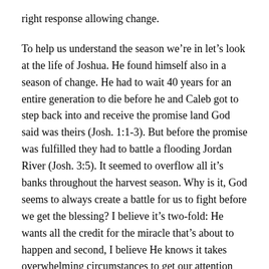right response allowing change.
To help us understand the season we’re in let’s look at the life of Joshua. He found himself also in a season of change. He had to wait 40 years for an entire generation to die before he and Caleb got to step back into and receive the promise land God said was theirs (Josh. 1:1-3). But before the promise was fulfilled they had to battle a flooding Jordan River (Josh. 3:5). It seemed to overflow all it’s banks throughout the harvest season. Why is it, God seems to always create a battle for us to fight before we get the blessing? I believe it’s two-fold: He wants all the credit for the miracle that’s about to happen and second, I believe He knows it takes overwhelming circumstances to get our attention and desire change. It’s in the heat of the battle, we get to learn about the character that IS or